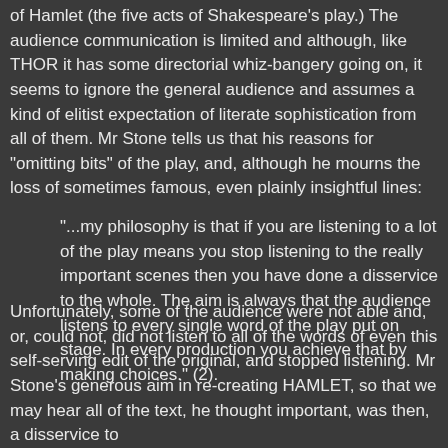of Hamlet (the five acts of Shakespeare's play.) The audience communication is limited and although, like THOR it has some directorial whiz-bangery going on, it seems to ignore the general audience and assumes a kind of elitist expectation of literate sophistication from all of them. Mr Stone tells us that his reasons for "omitting bits" of the play, and, although he mourns the loss of sometimes famous, even plainly insightful lines:
"...my philosophy is that if you are listening to a lot of the play means you stop listening to the really important scenes then you have done a disservice to the whole. The aim is always that the audience listens to every single word of the play put on stage. In every production you achieve that by making choices." (2).
Unfortunately, some of the audience were not able and, or, could not, did not listen to all of the words of even this self-serving edit of the original, and stopped listening. Mr Stone's generous aim in re-creating HAMLET, so that we may hear all of the text, he thought important, was then, a disservice to